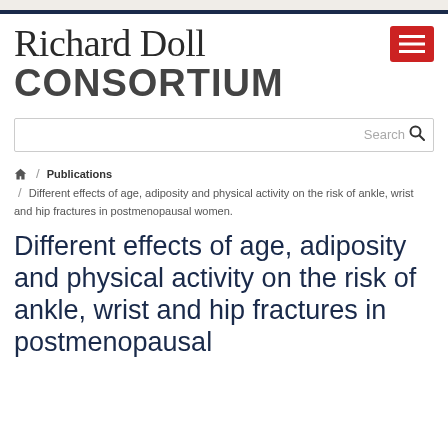Richard Doll CONSORTIUM
Search
Home / Publications / Different effects of age, adiposity and physical activity on the risk of ankle, wrist and hip fractures in postmenopausal women.
Different effects of age, adiposity and physical activity on the risk of ankle, wrist and hip fractures in postmenopausal